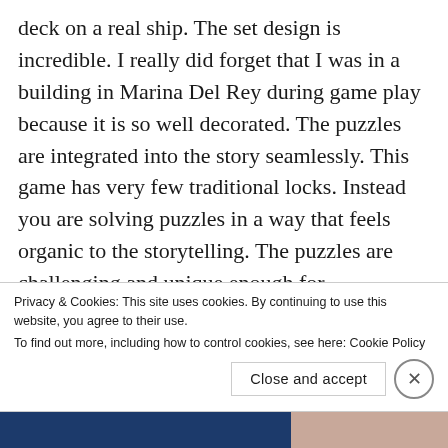deck on a real ship. The set design is incredible. I really did forget that I was in a building in Marina Del Rey during game play because it is so well decorated. The puzzles are integrated into the story seamlessly. This game has very few traditional locks. Instead you are solving puzzles in a way that feels organic to the storytelling. The puzzles are challenging and unique enough for experienced players, but logical in a way new players can still solve and enjoy. I love the creativity they use in creating puzzles that are actual activities you might do on a ship. I also quite
Privacy & Cookies: This site uses cookies. By continuing to use this website, you agree to their use.
To find out more, including how to control cookies, see here: Cookie Policy
Close and accept